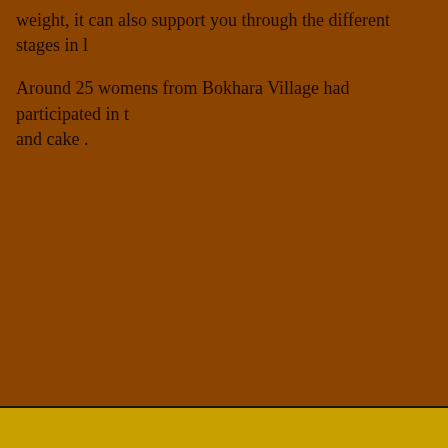weight, it can also support you through the different stages in l
Around 25 womens from Bokhara Village had participated in t and cake .